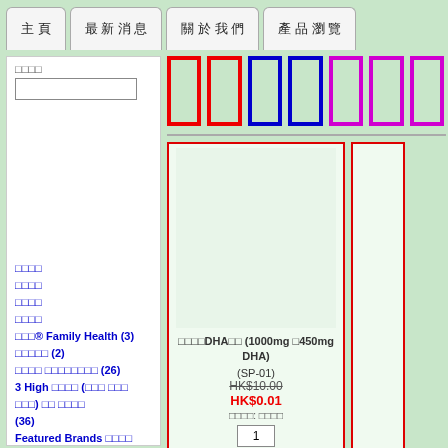主頁  最新消息  關於我們  產品瀏覽
搜尋
[Figure (screenshot): Search input text box]
[Figure (infographic): Row of colored rectangles: 2 red, 1 blue, 1 blue, 3 pink/magenta outlines]
[Figure (screenshot): Gray filter/navigation bar]
[Figure (screenshot): Product card: 魚油DHA軟膠 (1000mg 含450mg DHA), code SP-01, original price HK$10.00, sale price HK$0.01, quantity box showing 1]
分類甲
分類乙
分類丙
分類丁
品牌® Family Health (3)
品牌乙 (2)
品牌丙 健康品牌甲乙丙丁 (26)
3 High 產品系列 (高血壓 高血糖 高血脂) 心腦 血管健康 (36)
Featured Brands 特色品牌 (299)